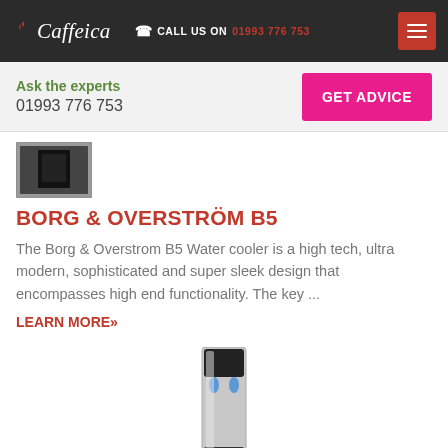Caffeica — CALL US ON 01993 776 753
Ask the experts
01993 776 753
GET ADVICE
[Figure (photo): Small product thumbnail image of the Borg & Overström B5 water cooler]
BORG & OVERSTRÖM B5
The Borg & Overstrom B5 Water cooler is a high tech, ultra modern, sophisticated and super sleek design that encompasses high end functionality. The key ...
LEARN MORE»
[Figure (photo): Tall floor-standing Borg & Overström B5 water cooler, silver and black, with blue dispensing spouts visible]